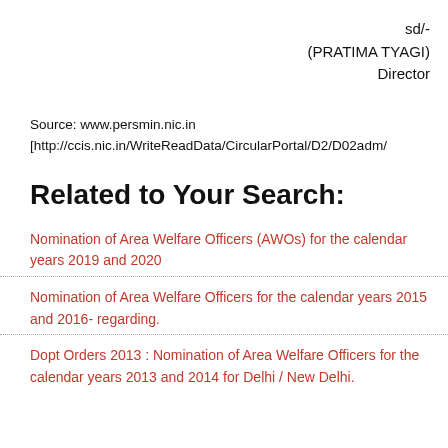sd/-
(PRATIMA TYAGI)
Director
Source: www.persmin.nic.in
[http://ccis.nic.in/WriteReadData/CircularPortal/D2/D02adm/
Related to Your Search:
Nomination of Area Welfare Officers (AWOs) for the calendar years 2019 and 2020
Nomination of Area Welfare Officers for the calendar years 2015 and 2016- regarding.
Dopt Orders 2013 : Nomination of Area Welfare Officers for the calendar years 2013 and 2014 for Delhi / New Delhi.